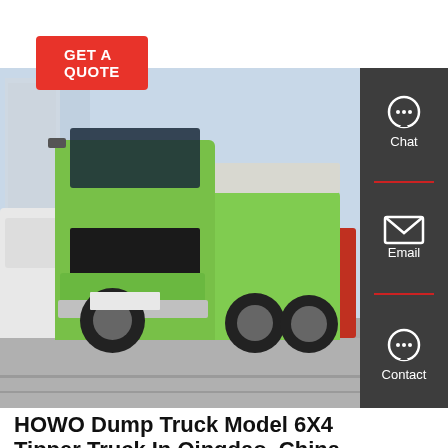GET A QUOTE
[Figure (photo): Green HOWO dump truck (tipper truck, 6x4, 10 wheels) parked at an outdoor venue in Qingdao, China. A white semi-truck is visible on the left, a red truck on the right. Urban buildings in background. Side panel with Chat, Email, Contact icons visible on the right.]
HOWO Dump Truck Model 6X4 Tipper Truck In Qingdao, China
Used Dump Trucks 10 Wheels HOWO Sinotruk